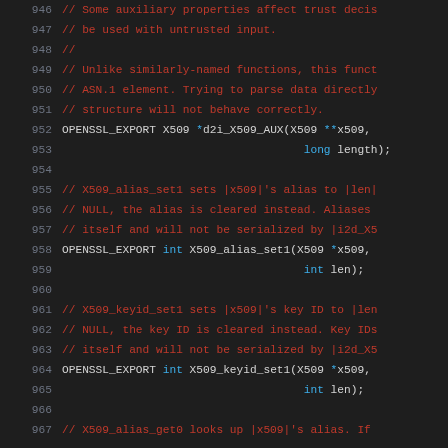Source code listing, lines 946–967, C header file with comments and OPENSSL_EXPORT function declarations for X509 auxiliary and alias/keyid operations.